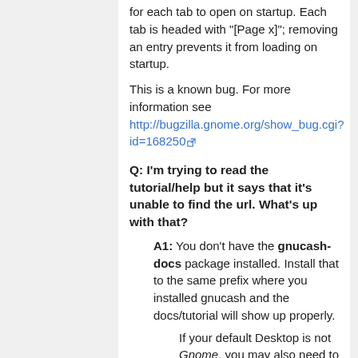for each tab to open on startup. Each tab is headed with "[Page x]"; removing an entry prevents it from loading on startup.
This is a known bug. For more information see http://bugzilla.gnome.org/show_bug.cgi?id=168250
Q: I'm trying to read the tutorial/help but it says that it's unable to find the url. What's up with that?
A1: You don't have the gnucash-docs package installed. Install that to the same prefix where you installed gnucash and the docs/tutorial will show up properly.
If your default Desktop is not Gnome, you may also need to install yelp.
A2: You ran in an "really stable"